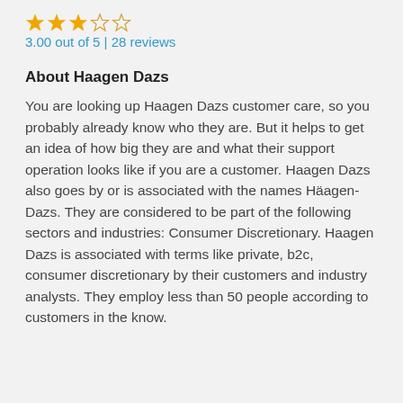[Figure (other): Star rating: 3 filled orange stars and 2 empty/outline stars]
3.00 out of 5 | 28 reviews
About Haagen Dazs
You are looking up Haagen Dazs customer care, so you probably already know who they are. But it helps to get an idea of how big they are and what their support operation looks like if you are a customer. Haagen Dazs also goes by or is associated with the names Häagen-Dazs. They are considered to be part of the following sectors and industries: Consumer Discretionary. Haagen Dazs is associated with terms like private, b2c, consumer discretionary by their customers and industry analysts. They employ less than 50 people according to customers in the know.